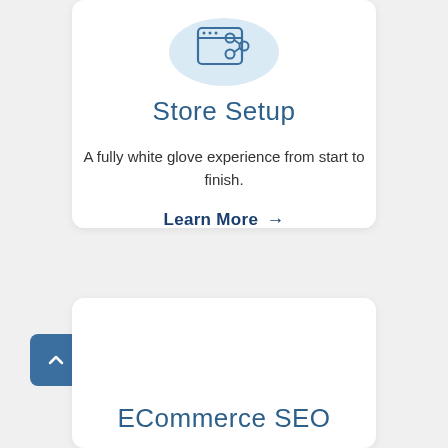[Figure (illustration): Icon of a browser window with a share/network icon, on a light blue circular background]
Store Setup
A fully white glove experience from start to finish.
Learn More →
ECommerce SEO